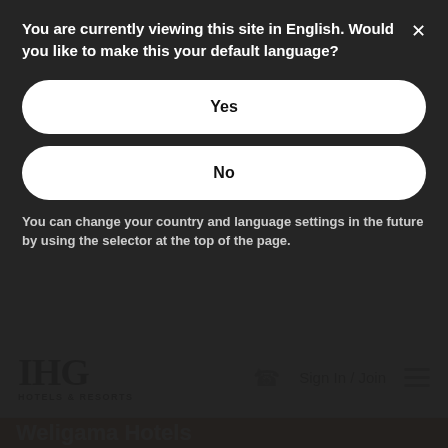You are currently viewing this site in English. Would you like to make this your default language?
Yes
No
You can change your country and language settings in the future by using the selector at the top of the page.
[Figure (logo): IHG Hotels & Resorts logo]
Sign In / Join
Weligama Hotels
[Figure (photo): A couple of tourists, a man with a camera and a woman in a hat and sunglasses, outdoors with green foliage background]